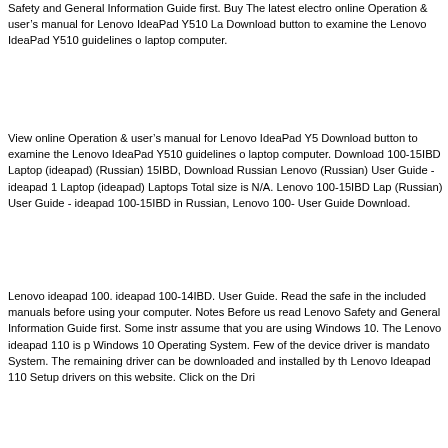Safety and General Information Guide first. Buy The latest electronic online Operation & user's manual for Lenovo IdeaPad Y510 La... Download button to examine the Lenovo IdeaPad Y510 guidelines o... laptop computer.
View online Operation & user's manual for Lenovo IdeaPad Y5... Download button to examine the Lenovo IdeaPad Y510 guidelines o... laptop computer. Download 100-15IBD Laptop (ideapad) (Russian) 15IBD, Download Russian Lenovo (Russian) User Guide - ideapad 1 Laptop (ideapad) Laptops Total size is N/A. Lenovo 100-15IBD Lap... (Russian) User Guide - ideapad 100-15IBD in Russian, Lenovo 100- User Guide Download.
Lenovo ideapad 100. ideapad 100-14IBD. User Guide. Read the safe... in the included manuals before using your computer. Notes Before us... read Lenovo Safety and General Information Guide first. Some instr... assume that you are using Windows 10. The Lenovo ideapad 110 is p... Windows 10 Operating System. Few of the device driver is mandato... System. The remaining driver can be downloaded and installed by th... Lenovo Ideapad 110 Setup drivers on this website. Click on the Dri...